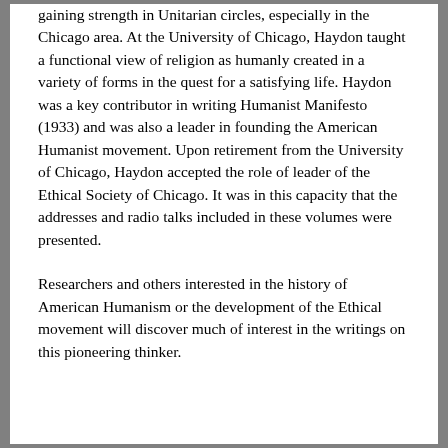gaining strength in Unitarian circles, especially in the Chicago area. At the University of Chicago, Haydon taught a functional view of religion as humanly created in a variety of forms in the quest for a satisfying life. Haydon was a key contributor in writing Humanist Manifesto (1933) and was also a leader in founding the American Humanist movement. Upon retirement from the University of Chicago, Haydon accepted the role of leader of the Ethical Society of Chicago. It was in this capacity that the addresses and radio talks included in these volumes were presented.
Researchers and others interested in the history of American Humanism or the development of the Ethical movement will discover much of interest in the writings on this pioneering thinker.